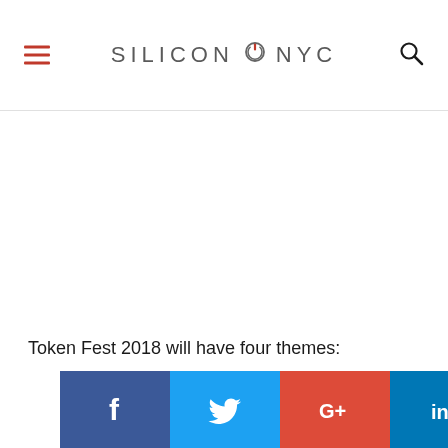SILICON NYC
Token Fest 2018 will have four themes:
[Figure (other): Social media share buttons: Facebook, Twitter, Google+, LinkedIn]